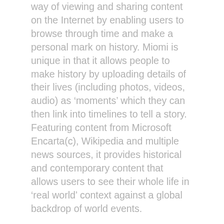way of viewing and sharing content on the Internet by enabling users to browse through time and make a personal mark on history. Miomi is unique in that it allows people to make history by uploading details of their lives (including photos, videos, audio) as ‘moments’ which they can then link into timelines to tell a story. Featuring content from Microsoft Encarta(c), Wikipedia and multiple news sources, it provides historical and contemporary content that allows users to see their whole life in ‘real world’ context against a global backdrop of world events.
Attenda is implementing and managing the infrastructure to support Miomi’s business critical website applications. The solution is based upon Microsoft technologies with an architecture designed to rapidly scale and flex, in the future, as site usage